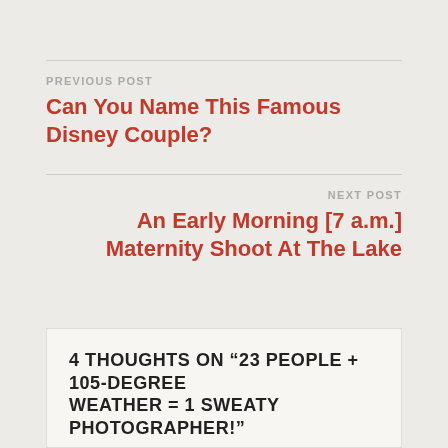PREVIOUS POST
Can You Name This Famous Disney Couple?
NEXT POST
An Early Morning [7 a.m.] Maternity Shoot At The Lake
4 THOUGHTS ON “23 PEOPLE + 105-DEGREE WEATHER = 1 SWEATY PHOTOGRAPHER!”
Pingback: An Early Morning [7 a.m.] Maternity Shoot At The Lake – Kansas City Photography